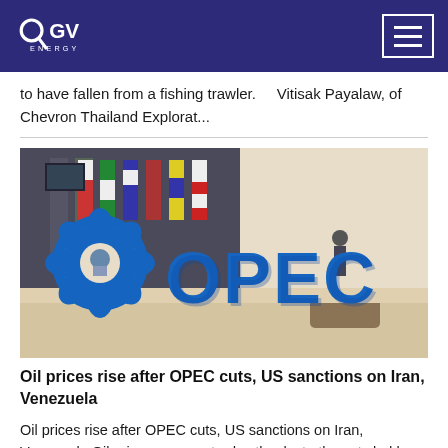OGV ENERGY
to have fallen from a fishing trawler.    Vitisak Payalaw, of Chevron Thailand Explorat...
[Figure (photo): OPEC signage with large blue 3D letters spelling OPEC in foreground, with international flags and lobby area visible in background]
Oil prices rise after OPEC cuts, US sanctions on Iran, Venezuela
Oil prices rise after OPEC cuts, US sanctions on Iran, Venezuela Oil prices rose yesterday thanks to the cuts led by the Organisation